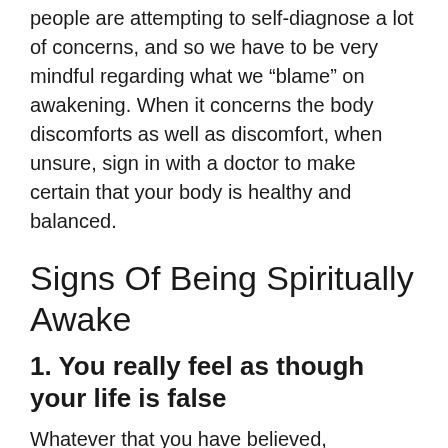people are attempting to self-diagnose a lot of concerns, and so we have to be very mindful regarding what we “blame” on awakening. When it concerns the body discomforts as well as discomfort, when unsure, sign in with a doctor to make certain that your body is healthy and balanced.
Signs Of Being Spiritually Awake
1. You really feel as though your life is false
Whatever that you have believed, constructed, and functioned towards appears